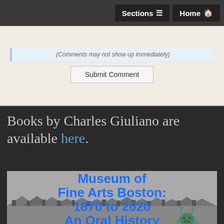Sections  Home
(Comments may not show up immediately)
Submit Comment
Books by Charles Giuliano are available here.
[Figure (photo): Book cover for 'Museum of Fine Arts Boston: 1870 to 2020 An Oral History' showing blue bold text over a black-and-white aerial rooftop scene with a green bronze animal statue visible at bottom right]